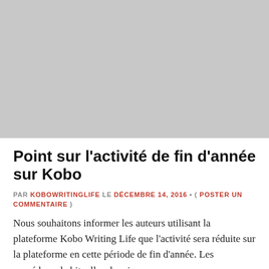[Figure (photo): Gray placeholder image area at the top of the page]
Point sur l’activité de fin d’année sur Kobo
PAR KOBOWRITINGLIFE LE DÉCEMBRE 14, 2016 • ( POSTER UN COMMENTAIRE )
Nous souhaitons informer les auteurs utilisant la plateforme Kobo Writing Life que l’activité sera réduite sur la plateforme en cette période de fin d’année. Les procédures habituelles de mise en